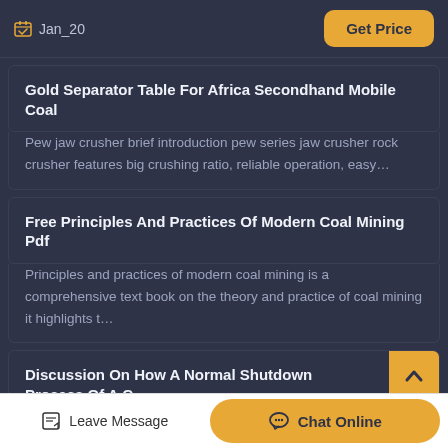Jan_20   Get Price
Gold Separator Table For Africa Secondhand Mobile Coal
Pew jaw crusher brief introduction pew series jaw crusher rock crusher features big crushing ratio, reliable operation, easy…
Free Principles And Practices Of Modern Coal Mining Pdf
Principles and practices of modern coal mining is a comprehensive text book on the theory and practice of coal mining it highlights t…
Discussion On How A Normal Shutdown Process Of A C…
Process in primary coal crusher home process in primary coal…
Leave Message   Chat Online